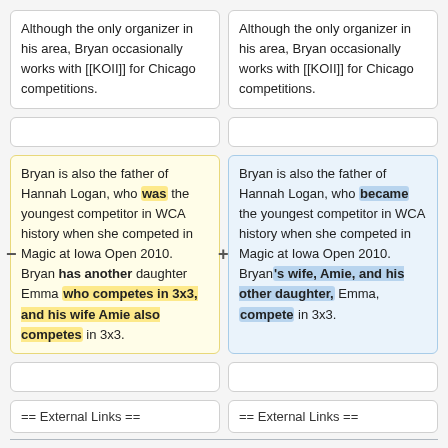Although the only organizer in his area, Bryan occasionally works with [[KOII]] for Chicago competitions.
Although the only organizer in his area, Bryan occasionally works with [[KOII]] for Chicago competitions.
Bryan is also the father of Hannah Logan, who was the youngest competitor in WCA history when she competed in Magic at Iowa Open 2010. Bryan has another daughter Emma who competes in 3x3, and his wife Amie also competes in 3x3.
Bryan is also the father of Hannah Logan, who became the youngest competitor in WCA history when she competed in Magic at Iowa Open 2010. Bryan's wife, Amie, and his other daughter, Emma, compete in 3x3.
== External Links ==
== External Links ==